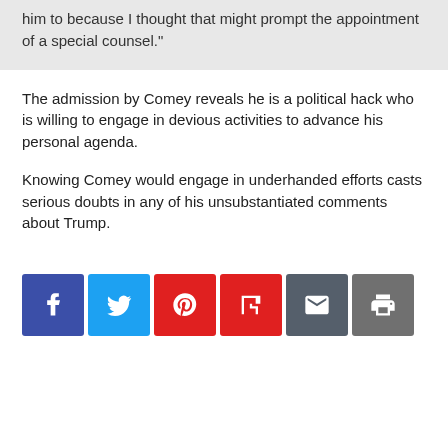him to because I thought that might prompt the appointment of a special counsel."
The admission by Comey reveals he is a political hack who is willing to engage in devious activities to advance his personal agenda.
Knowing Comey would engage in underhanded efforts casts serious doubts in any of his unsubstantiated comments about Trump.
[Figure (infographic): Social sharing buttons: Facebook (blue), Twitter (light blue), Pinterest (red), Flipboard (red), Email (dark grey), Print (grey)]